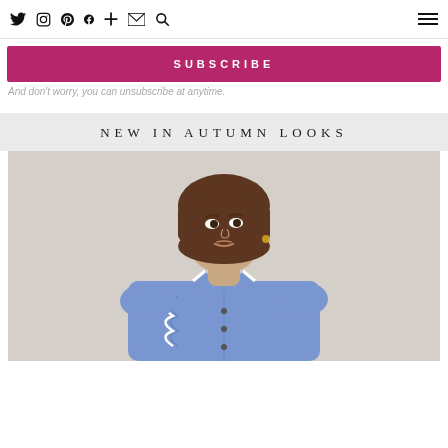Social icons: Twitter, Instagram, Pinterest, Facebook, Plus, Mail, Search; Hamburger menu
SUBSCRIBE
And don't worry, you can unsubscribe at anytime.
NEW IN AUTUMN LOOKS
[Figure (photo): Woman with short brown hair wearing a blue ruffled blouse with white piping, looking to the side against a light background]